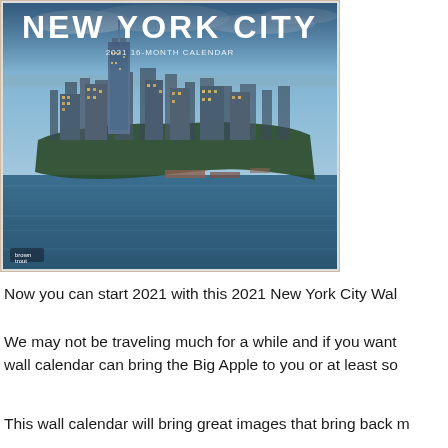[Figure (photo): Cover of a 2021 New York City 16-month wall calendar by BrownTrout. Shows an aerial/drone photograph of Lower Manhattan skyline with the One World Trade Center prominent, surrounded by water (Hudson and East Rivers), at dusk/twilight with city lights visible. The title 'NEW YORK CITY' appears in large white text at the top, with '2021 16-MONTH CALENDAR' in smaller text below. The BrownTrout logo is visible at the bottom left of the image.]
Now you can start 2021 with this 2021 New York City Wal...
We may not be traveling much for a while and if you want... wall calendar can bring the Big Apple to you or at least so...
This wall calendar will bring great images that bring back m...